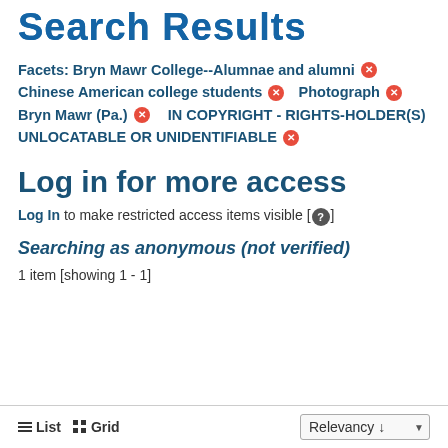Search Results
Facets: Bryn Mawr College--Alumnae and alumni ✕   Chinese American college students ✕   Photograph ✕   Bryn Mawr (Pa.) ✕   IN COPYRIGHT - RIGHTS-HOLDER(S) UNLOCATABLE OR UNIDENTIFIABLE ✕
Log in for more access
Log In to make restricted access items visible [?]
Searching as anonymous (not verified)
1 item [showing 1 - 1]
≡ List  ⊞ Grid   Relevancy ↓